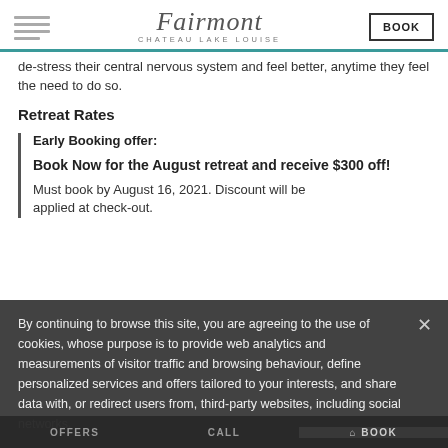Fairmont Chateau Lake Louise | BOOK
de-stress their central nervous system and feel better, anytime they feel the need to do so.
Retreat Rates
Early Booking offer:
Book Now for the August retreat and receive $300 off!
Must book by August 16, 2021. Discount will be applied at check-out.
By continuing to browse this site, you are agreeing to the use of cookies, whose purpose is to provide web analytics and measurements of visitor traffic and browsing behaviour, define personalized services and offers tailored to your interests, and share data with, or redirect users from, third-party websites, including social networks.
OFFERS | CALL | BOOK